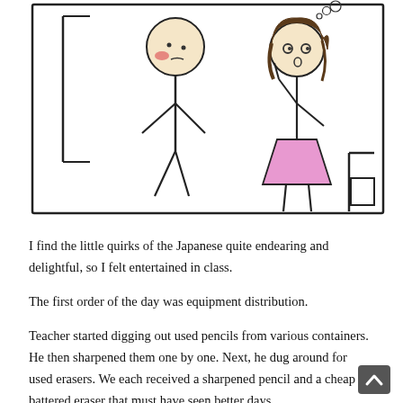[Figure (illustration): Hand-drawn stick figure comic panel. On the left, a stick figure person with a red cheek stands looking downward with a sad/ashamed posture, next to a door frame. On the right, a stick figure girl with brown hair and a pink triangular dress sits at a desk, looking surprised with her hand raised to her face. A small thought bubble is visible above her head. The scene is set in a classroom.]
I find the little quirks of the Japanese quite endearing and delightful, so I felt entertained in class.
The first order of the day was equipment distribution.
Teacher started digging out used pencils from various containers. He then sharpened them one by one. Next, he dug around for used erasers. We each received a sharpened pencil and a cheap battered eraser that must have seen better days.